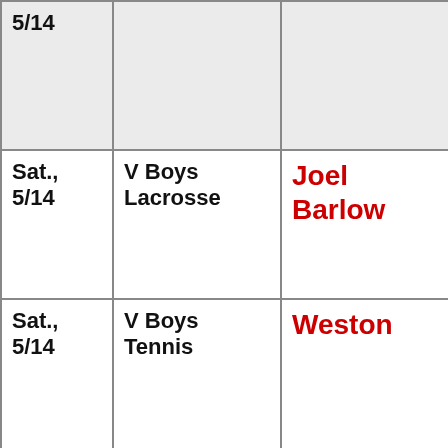| Date | Event | Opponent |
| --- | --- | --- |
| 5/14 |  |  |
| Sat., 5/14 | V Boys Lacrosse | Joel Barlow |
| Sat., 5/14 | V Boys Tennis | Weston |